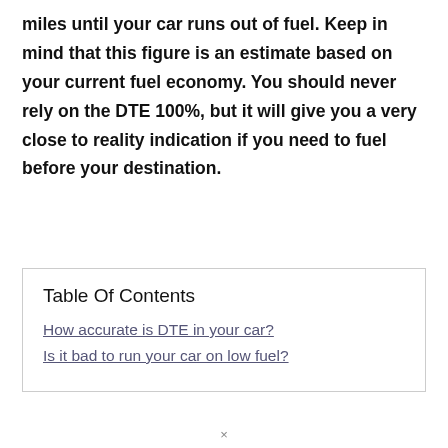miles until your car runs out of fuel. Keep in mind that this figure is an estimate based on your current fuel economy. You should never rely on the DTE 100%, but it will give you a very close to reality indication if you need to fuel before your destination.
Table Of Contents
How accurate is DTE in your car?
Is it bad to run your car on low fuel?